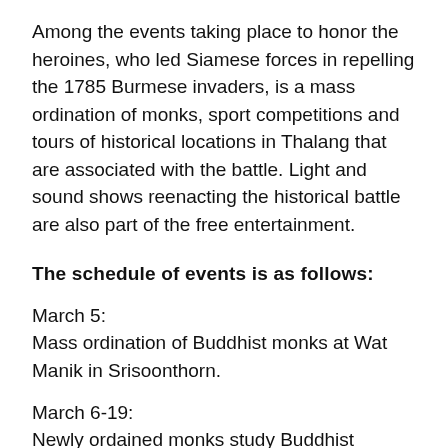Among the events taking place to honor the heroines, who led Siamese forces in repelling the 1785 Burmese invaders, is a mass ordination of monks, sport competitions and tours of historical locations in Thalang that are associated with the battle. Light and sound shows reenacting the historical battle are also part of the free entertainment.
The schedule of events is as follows:
March 5:
Mass ordination of Buddhist monks at Wat Manik in Srisoonthorn.
March 6-19:
Newly ordained monks study Buddhist teachings.
March 7-11: